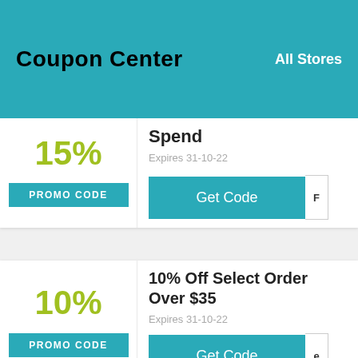Coupon Center
All Stores
15%
PROMO CODE
Spend
Expires 31-10-22
Get Code F
10%
PROMO CODE
10% Off Select Order Over $35
Expires 31-10-22
Get Code e